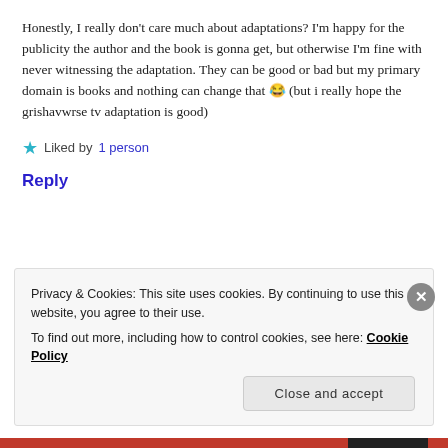Honestly, I really don't care much about adaptations? I'm happy for the publicity the author and the book is gonna get, but otherwise I'm fine with never witnessing the adaptation. They can be good or bad but my primary domain is books and nothing can change that 😂 (but i really hope the grishavwrse tv adaptation is good)
★ Liked by 1 person
Reply
Privacy & Cookies: This site uses cookies. By continuing to use this website, you agree to their use. To find out more, including how to control cookies, see here: Cookie Policy